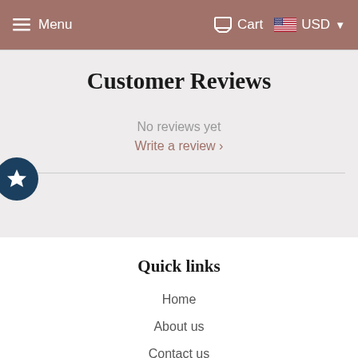Menu   Cart   USD
Customer Reviews
No reviews yet
Write a review ›
Quick links
Home
About us
Contact us